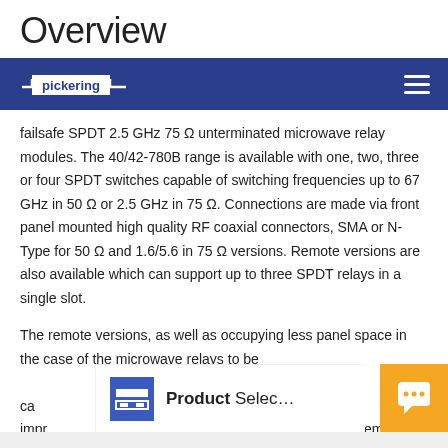Overview
[Figure (logo): Pickering logo on dark blue navigation bar with hamburger menu icon]
failsafe SPDT 2.5 GHz 75 Ω unterminated microwave relay modules. The 40/42-780B range is available with one, two, three or four SPDT switches capable of switching frequencies up to 67 GHz in 50 Ω or 2.5 GHz in 75 Ω. Connections are made via front panel mounted high quality RF coaxial connectors, SMA or N-Type for 50 Ω and 1.6/5.6 in 75 Ω versions. Remote versions are also available which can support up to three SPDT relays in a single slot.
The remote versions, as well as occupying less panel space in the case of the microwave relays to be ... test equipment. This can shorten the length of cables and improve system performance. Remote multiplexers are